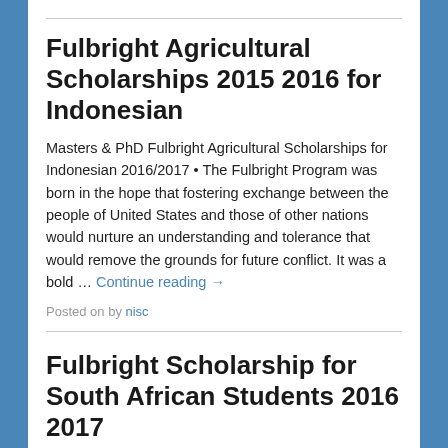Fulbright Agricultural Scholarships 2015 2016 for Indonesian
Masters & PhD Fulbright Agricultural Scholarships for Indonesian 2016/2017 • The Fulbright Program was born in the hope that fostering exchange between the people of United States and those of other nations would nurture an understanding and tolerance that would remove the grounds for future conflict. It was a bold … Continue reading →
Posted on by nisc
Fulbright Scholarship for South African Students 2016 2017
Fulbright Scholarship for South African Students 2016/2017 •